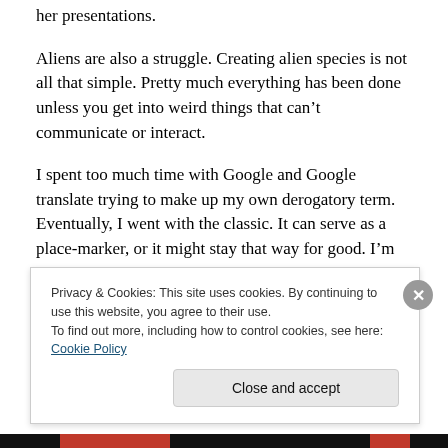her presentations.
Aliens are also a struggle. Creating alien species is not all that simple. Pretty much everything has been done unless you get into weird things that can't communicate or interact.
I spent too much time with Google and Google translate trying to make up my own derogatory term. Eventually, I went with the classic. It can serve as a place-marker, or it might stay that way for good. I'm not overly fond of the word. but it does have impact.
Privacy & Cookies: This site uses cookies. By continuing to use this website, you agree to their use.
To find out more, including how to control cookies, see here: Cookie Policy
Close and accept